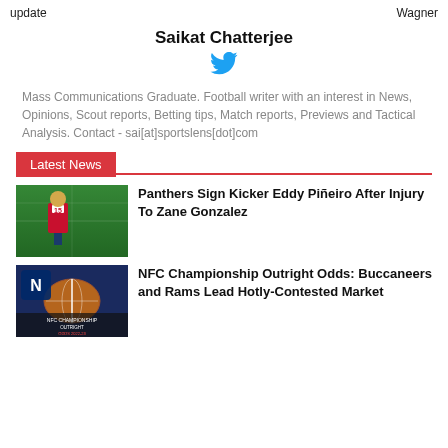update   Wagner
Saikat Chatterjee
[Figure (logo): Twitter bird icon in blue]
Mass Communications Graduate. Football writer with an interest in News, Opinions, Scout reports, Betting tips, Match reports, Previews and Tactical Analysis. Contact - sai[at]sportslens[dot]com
Latest News
[Figure (photo): Football player wearing jersey number 15 on a field]
Panthers Sign Kicker Eddy Piñeiro After Injury To Zane Gonzalez
[Figure (photo): NFC Championship Outright Odds image with football and NFC logo]
NFC Championship Outright Odds: Buccaneers and Rams Lead Hotly-Contested Market